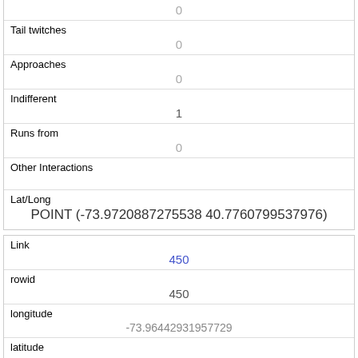|  | 0 |
| Tail twitches | 0 |
| Approaches | 0 |
| Indifferent | 1 |
| Runs from | 0 |
| Other Interactions |  |
| Lat/Long | POINT (-73.9720887275538 40.7760799537976) |
| Link | 450 |
| rowid | 450 |
| longitude | -73.96442931957729 |
| latitude |  |